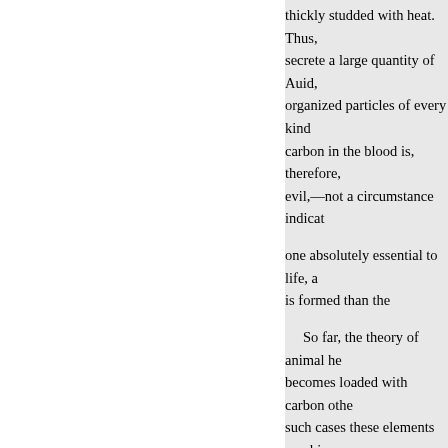thickly studded with heat. Thus, secrete a large quantity of Auid, organized particles of every kind carbon in the blood is, therefore, evil,—not a circumstance indicat
one absolutely essential to life, a is formed than the
So far, the theory of animal he becomes loaded with carbon othe such cases these elements combi observed
al, which is separated from the b physiology which are yet parts o On this account, and as the subje
bear directly on the object we ha organs—the lungs, the it bere, fu the liver, the intestines, and by th tissue, the blood is maintained in production of heat in carrying on chemical operation dependent om varies nation of oxygen with carb one or more may, for a time, take